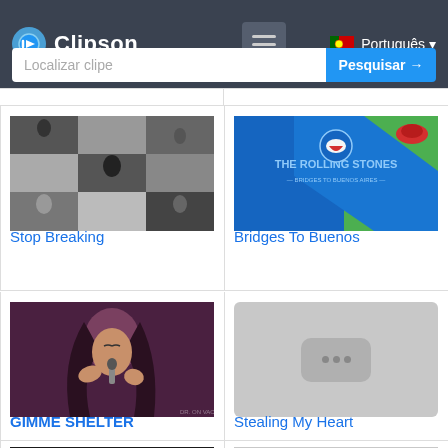Clipson
Localizar clipe
Pesquisar →
[Figure (screenshot): Black and white collage thumbnail for 'Stop Breaking']
Stop Breaking
[Figure (screenshot): The Rolling Stones Bridges To Buenos Aires album art thumbnail]
Bridges To Buenos
[Figure (photo): Female singer performing, GIMME SHELTER thumbnail]
GIMME SHELTER
[Figure (screenshot): Gray placeholder thumbnail for Stealing My Heart]
Stealing My Heart
[Figure (screenshot): Partial thumbnail of Rolling Stones concert]
[Figure (screenshot): Partial gray placeholder thumbnail]